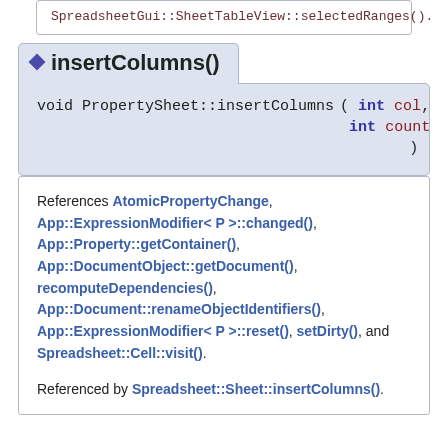SpreadsheetGui::SheetTableView::selectedRanges().
insertColumns()
void PropertySheet::insertColumns ( int col, int count )
References AtomicPropertyChange, App::ExpressionModifier< P >::changed(), App::Property::getContainer(), App::DocumentObject::getDocument(), recomputeDependencies(), App::Document::renameObjectIdentifiers(), App::ExpressionModifier< P >::reset(), setDirty(), and Spreadsheet::Cell::visit().
Referenced by Spreadsheet::Sheet::insertColumns().